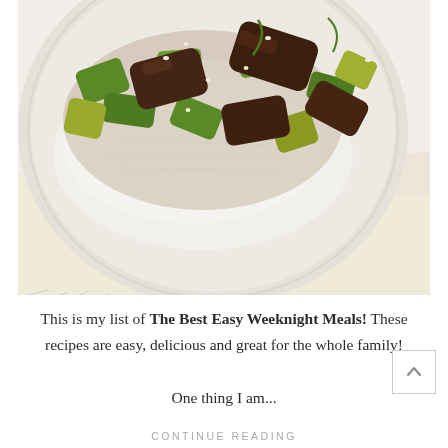[Figure (photo): Overhead view of a bowl of stir-fry beef with green peppers and vegetables served over white rice, placed on a white linen napkin on a light surface.]
This is my list of The Best Easy Weeknight Meals! These recipes are easy, delicious and great for the whole family!
One thing I am...
CONTINUE READING